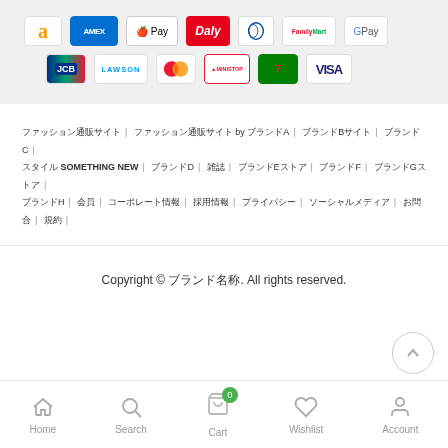[Figure (other): Payment method icons: Amazon, AMEX, Apple Pay, Daly, Diners Club, FamilyMart, Google Pay, JCB, LAWSON, Mastercard, MINISTOP, 7-Eleven, VISA]
ファッション通販サイト | ファッション通販サイト by ブランドA | ブランドBサイト | ブランドC | スタイル SOMETHING NEW | ブランドD | 雑誌 | ブランドEストア | ブランドF | ブランドGストア | ブランドH | 会員 | コーポレート情報 | 採用情報 | プライバシー | ソーシャルメディア | お問合 | 規約 |
Copyright © ブランド名称. All rights reserved.
Home | Search | Cart (0) | Wishlist | Account